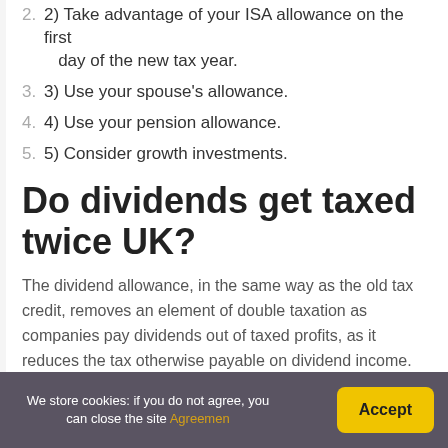2. 2) Take advantage of your ISA allowance on the first day of the new tax year.
3. 3) Use your spouse's allowance.
4. 4) Use your pension allowance.
5. 5) Consider growth investments.
Do dividends get taxed twice UK?
The dividend allowance, in the same way as the old tax credit, removes an element of double taxation as companies pay dividends out of taxed profits, as it reduces the tax otherwise payable on dividend income. The double taxation is also reduced by the lower tax
We store cookies: if you do not agree, you can close the site Agreemen